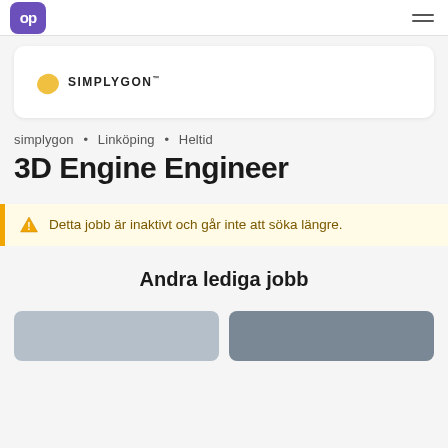op [logo] | hamburger menu
[Figure (logo): Simplygon logo: yellow geometric shape with SIMPLYGON text]
simplygon • Linköping • Heltid
3D Engine Engineer
Detta jobb är inaktivt och går inte att söka längre.
Andra lediga jobb
[Figure (photo): Two job listing thumbnail images at bottom of page]